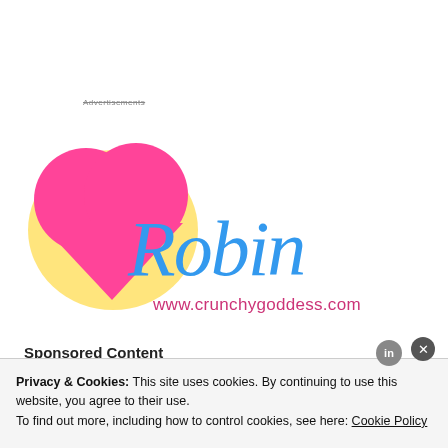Advertisements
[Figure (logo): Crunchy Goddess blog logo — a pink heart with yellow glow, cursive blue 'Robin' text, and pink URL www.crunchygoddess.com]
Sponsored Content
Privacy & Cookies: This site uses cookies. By continuing to use this website, you agree to their use. To find out more, including how to control cookies, see here: Cookie Policy
Close and accept